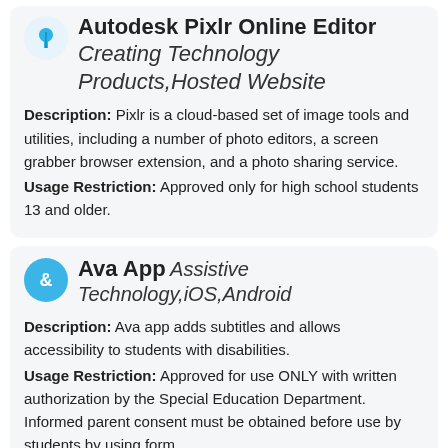Autodesk Pixlr Online Editor — Creating Technology Products,Hosted Website
Description: Pixlr is a cloud-based set of image tools and utilities, including a number of photo editors, a screen grabber browser extension, and a photo sharing service. Usage Restriction: Approved only for high school students 13 and older.
Ava App — Assistive Technology,iOS,Android
Description: Ava app adds subtitles and allows accessibility to students with disabilities. Usage Restriction: Approved for use ONLY with written authorization by the Special Education Department. Informed parent consent must be obtained before use by students by using form https://wcsdpolicy.net/pdf_files/forms/7627_AF-